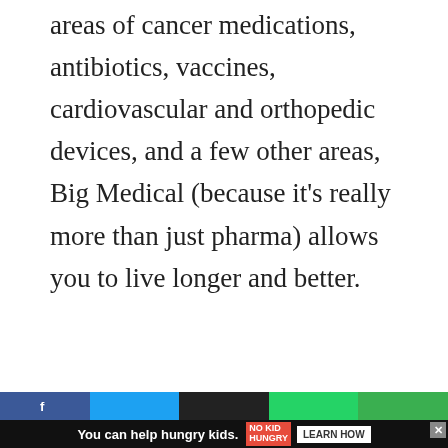areas of cancer medications, antibiotics, vaccines, cardiovascular and orthopedic devices, and a few other areas, Big Medical (because it's really more than just pharma) allows you to live longer and better.
Continue reading
[Figure (infographic): Sharing is caring! social sharing buttons: Facebook, Twitter, Pinterest, LinkedIn, WhatsApp, and More options]
[Figure (infographic): Advertisement banner: You can help hungry kids. No Kid Hungry. Learn How.]